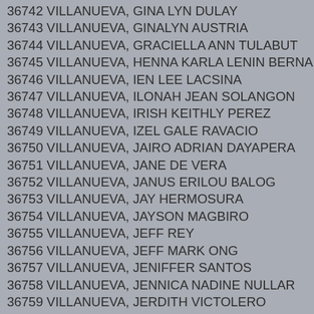36742 VILLANUEVA, GINA LYN DULAY
36743 VILLANUEVA, GINALYN AUSTRIA
36744 VILLANUEVA, GRACIELLA ANN TULABUT
36745 VILLANUEVA, HENNA KARLA LENIN BERNADA
36746 VILLANUEVA, IEN LEE LACSINA
36747 VILLANUEVA, ILONAH JEAN SOLANGON
36748 VILLANUEVA, IRISH KEITHLY PEREZ
36749 VILLANUEVA, IZEL GALE RAVACIO
36750 VILLANUEVA, JAIRO ADRIAN DAYAPERA
36751 VILLANUEVA, JANE DE VERA
36752 VILLANUEVA, JANUS ERILOU BALOG
36753 VILLANUEVA, JAY HERMOSURA
36754 VILLANUEVA, JAYSON MAGBIRO
36755 VILLANUEVA, JEFF REY
36756 VILLANUEVA, JEFF MARK ONG
36757 VILLANUEVA, JENIFFER SANTOS
36758 VILLANUEVA, JENNICA NADINE NULLAR
36759 VILLANUEVA, JERDITH VICTOLERO
36760 VILLANUEVA, JESSA MAR BULURAN
36761 VILLANUEVA, JETT REY
36762 VILLANUEVA, JHON ROGER CASTAÑARES
36763 VILLANUEVA, JHONALYN ANGELO